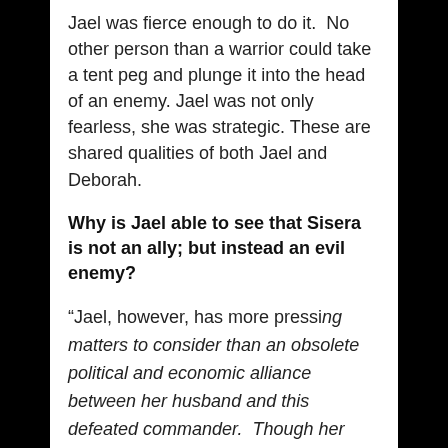Jael was fierce enough to do it. No other person than a warrior could take a tent peg and plunge it into the head of an enemy. Jael was not only fearless, she was strategic. These are shared qualities of both Jael and Deborah.
Why is Jael able to see that Sisera is not an ally; but instead an evil enemy?
“Jael, however, has more pressing matters to consider than an obsolete political and economic alliance between her husband and this defeated commander. Though her thoughts are never revealed, she is clearly a woman caught in the middle. The Israelites